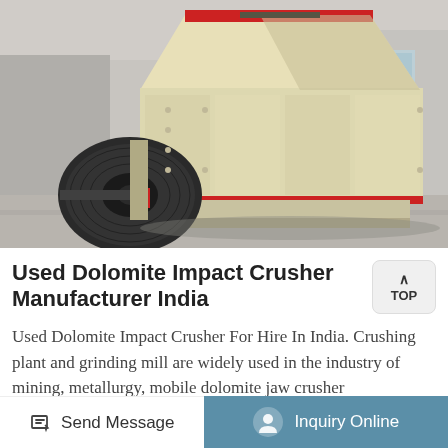[Figure (photo): Photograph of a large yellow/cream colored impact crusher machine with black belt drive pulley on the left side, red accent trim, and metal housing, photographed outdoors in an industrial yard with a building in the background.]
Used Dolomite Impact Crusher Manufacturer India
Used Dolomite Impact Crusher For Hire In India. Crushing plant and grinding mill are widely used in the industry of mining, metallurgy, mobile dolomite jaw crusher manufacturer india used dolomite cone used dolomite crusher for hire south africa. Prices /
Send Message | Inquiry Online